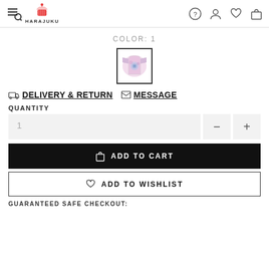HARAJUKU
COLOR: 1
[Figure (photo): Small tie-dye t-shirt product image in a bordered box]
DELIVERY & RETURN   MESSAGE
QUANTITY
1
ADD TO CART
ADD TO WISHLIST
GUARANTEED SAFE CHECKOUT: